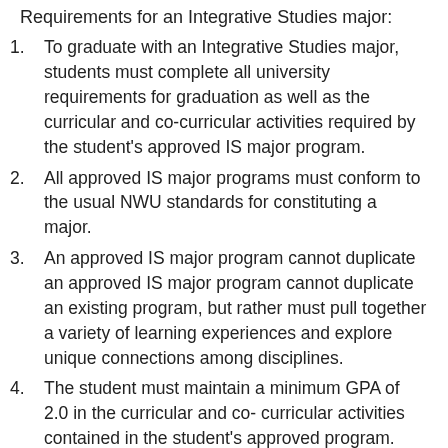Requirements for an Integrative Studies major:
To graduate with an Integrative Studies major, students must complete all university requirements for graduation as well as the curricular and co-curricular activities required by the student's approved IS major program.
All approved IS major programs must conform to the usual NWU standards for constituting a major.
An approved IS major program cannot duplicate an approved IS major program cannot duplicate an existing program, but rather must pull together a variety of learning experiences and explore unique connections among disciplines.
The student must maintain a minimum GPA of 2.0 in the curricular and co- curricular activities contained in the student's approved program.
At least 50% of the approved IS major program must be for curricular and co-curricular activities